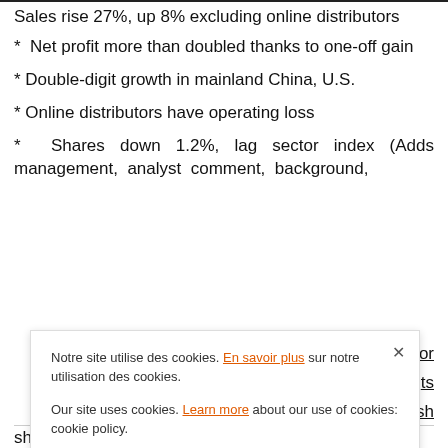Sales rise 27%, up 8% excluding online distributors
* Net profit more than doubled thanks to one-off gain
* Double-digit growth in mainland China, U.S.
* Online distributors have operating loss
* Shares down 1.2%, lag sector index (Adds management, analyst comment, background,
Notre site utilise des cookies. En savoir plus sur notre utilisation des cookies.

Our site uses cookies. Learn more about our use of cookies: cookie policy.

I ACCEPT USE OF COOKIES
demand for jest markets wed sluggish
shipments this year and luxury rival Kering recorded